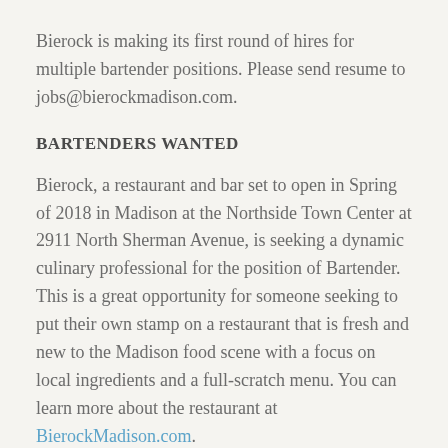Bierock is making its first round of hires for multiple bartender positions. Please send resume to jobs@bierockmadison.com.
BARTENDERS WANTED
Bierock, a restaurant and bar set to open in Spring of 2018 in Madison at the Northside Town Center at 2911 North Sherman Avenue, is seeking a dynamic culinary professional for the position of Bartender. This is a great opportunity for someone seeking to put their own stamp on a restaurant that is fresh and new to the Madison food scene with a focus on local ingredients and a full-scratch menu. You can learn more about the restaurant at BierockMadison.com.